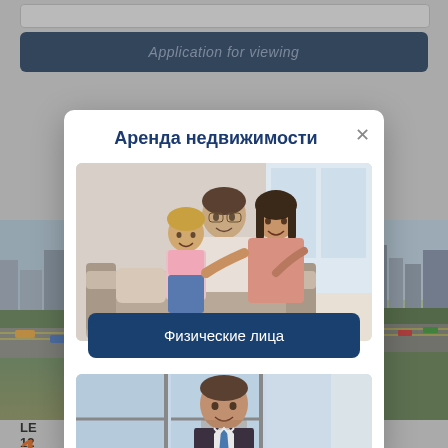[Figure (screenshot): Background of a web page showing a search/input bar at the top, a dark blue 'Application for viewing' button below it, and city aerial photos in the background with some partially visible text at the bottom (LE... 12...)]
Аренда недвижимости
[Figure (photo): Photo of a smiling family (father, mother, and young daughter) sitting on a couch together in a cozy interior]
Физические лица
[Figure (photo): Partial photo of a smiling businessman in a suit and tie, standing indoors with large windows in the background]